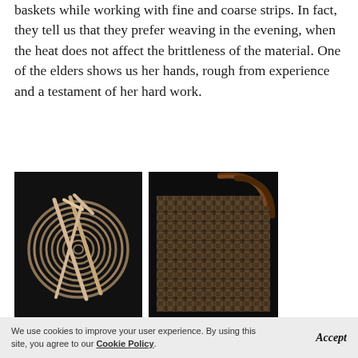baskets while working with fine and coarse strips. In fact, they tell us that they prefer weaving in the evening, when the heat does not affect the brittleness of the material. One of the elders shows us her hands, rough from experience and a testament of her hard work.
[Figure (photo): A coiled basket or bundle of woven material photographed on a black background, with light-colored strips crossing over the circular coil.]
[Figure (photo): Close-up of a woven basket with dark brown handles, showing intricate weaving pattern on a black background.]
We use cookies to improve your user experience. By using this site, you agree to our Cookie Policy.